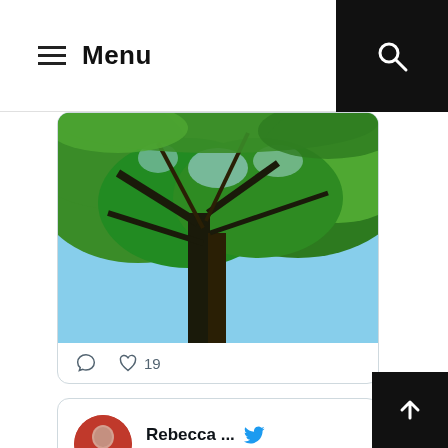Menu
[Figure (photo): Photo of tree canopy with green leaves shot from below against blue sky]
19
[Figure (screenshot): Tweet by Rebecca ... @Re... · 6h with Twitter bird icon and avatar]
Autum is icumen bac... (Spelling for effect rather than authenticity)
[Figure (photo): Photo of blackberries and wild plants]